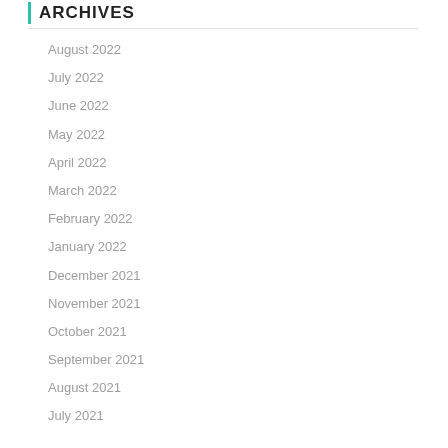ARCHIVES
August 2022
July 2022
June 2022
May 2022
April 2022
March 2022
February 2022
January 2022
December 2021
November 2021
October 2021
September 2021
August 2021
July 2021